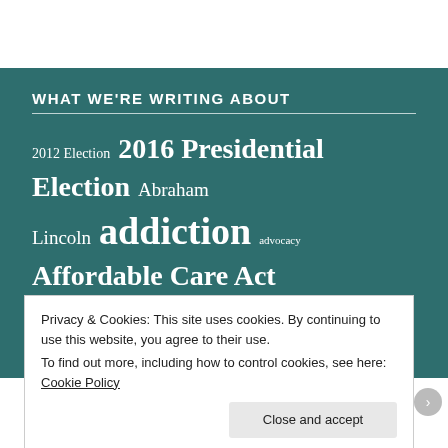WHAT WE'RE WRITING ABOUT
[Figure (infographic): Tag cloud on teal background showing topics: 2012 Election, 2016 Presidential Election, Abraham Lincoln, addiction, advocacy, Affordable Care Act, Afghanistan, Africa, AIDS, alcoholism, American Indians, Appalachia, Barack Obama, Bernie Sanders, Black Lives Matter, CDC, Cincinnati, Civil]
Privacy & Cookies: This site uses cookies. By continuing to use this website, you agree to their use.
To find out more, including how to control cookies, see here: Cookie Policy
Close and accept